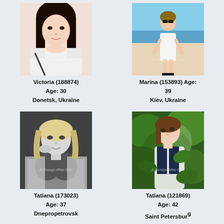[Figure (photo): Portrait photo of Victoria, young woman with dark hair, white off-shoulder top, watermark A-Foreign-Affair.Com]
Victoria (188874) Age: 30
Donetsk, Ukraine
[Figure (photo): Full body photo of Marina, woman in white dress on beach/poolside, watermark A-Foreign-Affair.Com]
Marina (153893) Age: 39
Kiev, Ukraine
[Figure (photo): Black and white portrait photo of Tatiana, blonde woman, watermark A-Foreign-Affair.Com]
Tatiana (173023) Age: 37
Dnepropetrovsk
[Figure (photo): Color photo of Tatiana outdoors among green leaves, watermark A-Foreign-Affair.Com]
Tatiana (121869) Age: 42
Saint Petersburg